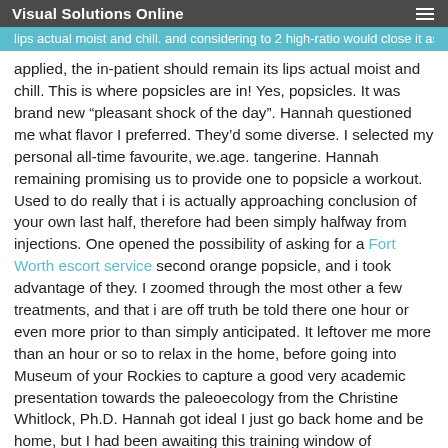Visual Solutions Online
lips actual moist and chill. and considering to 2 high-ratio would close it as being applied, the in-patient should remain its lips actual moist and chill. This is where popsicles are in! Yes, popsicles. It was brand new “pleasant shock of the day”. Hannah questioned me what flavor I preferred. They’d some diverse. I selected my personal all-time favourite, we.age. tangerine. Hannah remaining promising us to provide one to popsicle a workout. Used to do really that i is actually approaching conclusion of your own last half, therefore had been simply halfway from injections. One opened the possibility of asking for a Fort Worth escort service second orange popsicle, and i took advantage of they. I zoomed through the most other a few treatments, and that i are off truth be told there one hour or even more prior to than simply anticipated. It leftover me more than an hour or so to relax in the home, before going into Museum of your Rockies to capture a good very academic presentation towards the paleoecology from the Christine Whitlock, Ph.D. Hannah got ideal I just go back home and be home, but I had been awaiting this training window of opportunity for weeks. We dreaded I would personally start nodding off inside the speech, but I found myself capable